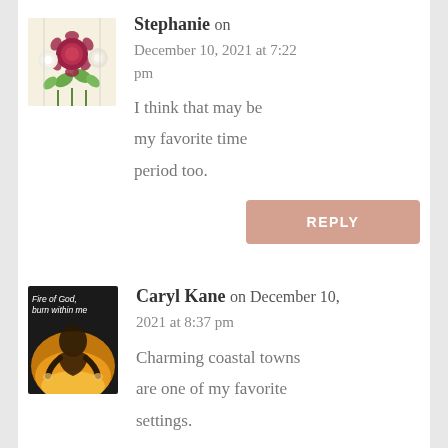[Figure (photo): Floral avatar image with roses]
Stephanie on December 10, 2021 at 7:22 pm
I think that may be my favorite time period too.
[Figure (photo): Avatar image with fire/prayer theme, text: Fire of God, burn within me]
Caryl Kane on December 10, 2021 at 8:37 pm
Charming coastal towns are one of my favorite settings.